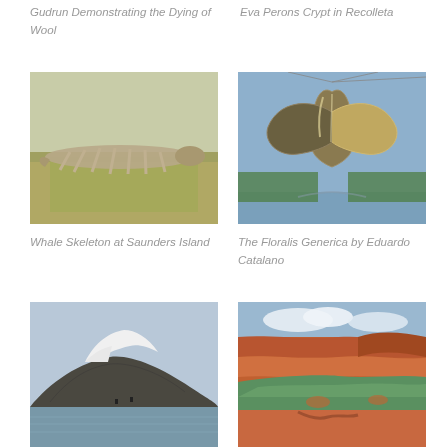Gudrun Demonstrating the Dying of Wool
Eva Perons Crypt in Recolleta
[Figure (photo): Whale skeleton lying on grassy terrain at Saunders Island]
[Figure (photo): The Floralis Generica metallic flower sculpture by Eduardo Catalano reflecting sky]
Whale Skeleton at Saunders Island
The Floralis Generica by Eduardo Catalano
[Figure (photo): Snow-capped mountain island with icy water in foreground]
[Figure (photo): Aerial view of Lake Powell with red rock canyon walls and green water]